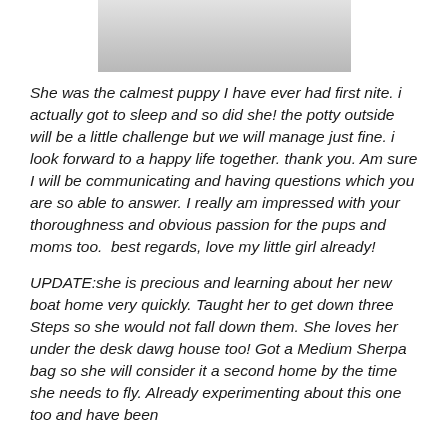[Figure (photo): Partially visible photo of a puppy, mostly white/grey background visible]
She was the calmest puppy I have ever had first nite. i actually got to sleep and so did she! the potty outside will be a little challenge but we will manage just fine. i look forward to a happy life together. thank you. Am sure I will be communicating and having questions which you are so able to answer. I really am impressed with your thoroughness and obvious passion for the pups and moms too.  best regards, love my little girl already!
UPDATE:she is precious and learning about her new boat home very quickly. Taught her to get down three Steps so she would not fall down them. She loves her under the desk dawg house too! Got a Medium Sherpa bag so she will consider it a second home by the time she needs to fly. Already experimenting about this one too and have been